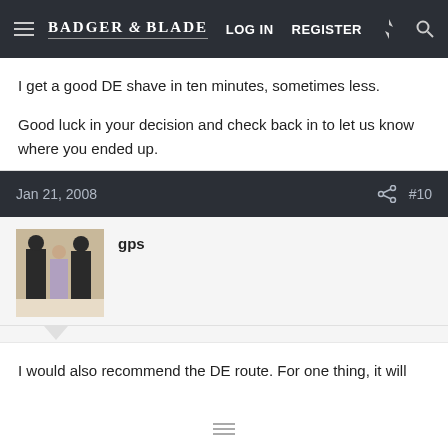Badger & Blade — LOG IN  REGISTER
I get a good DE shave in ten minutes, sometimes less.
Good luck in your decision and check back in to let us know where you ended up.
Jan 21, 2008  #10
gps
I would also recommend the DE route. For one thing, it will